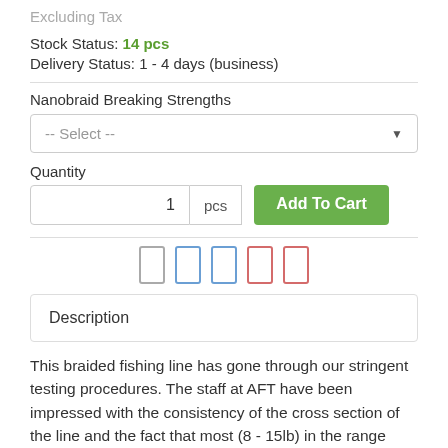Excluding Tax
Stock Status: 14 pcs
Delivery Status: 1 - 4 days (business)
Nanobraid Breaking Strengths
-- Select --
Quantity
1
pcs
Add To Cart
[Figure (other): Social sharing icons row: five icon boxes (grey, blue, blue, red, red)]
Description
This braided fishing line has gone through our stringent testing procedures. The staff at AFT have been impressed with the consistency of the cross section of the line and the fact that most (8 - 15lb) in the range have an impressive 8 weaves of